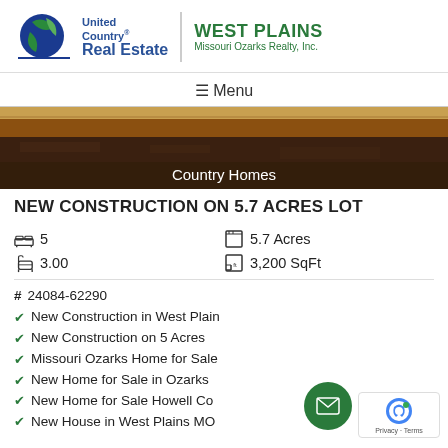[Figure (logo): United Country Real Estate logo with globe/leaf icon]
WEST PLAINS Missouri Ozarks Realty, Inc.
≡ Menu
[Figure (photo): Hero image showing soil/dirt cross-section with dark brown earth, overlaid with text 'Country Homes']
NEW CONSTRUCTION ON 5.7 ACRES LOT
5 bedrooms | 3.00 bathrooms | 5.7 Acres | 3,200 SqFt
# 24084-62290
New Construction in West Plain
New Construction on 5 Acres
Missouri Ozarks Home for Sale
New Home for Sale in Ozarks
New Home for Sale Howell Co
New House in West Plains MO